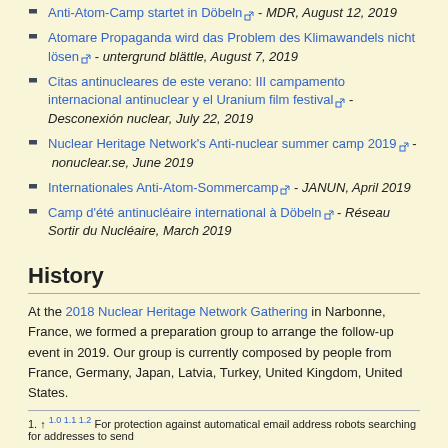Anti-Atom-Camp startet in Döbeln [ext] - MDR, August 12, 2019
Atomare Propaganda wird das Problem des Klimawandels nicht lösen [ext] - untergrund blättle, August 7, 2019
Citas antinucleares de este verano: III campamento internacional antinuclear y el Uranium film festival [ext] - Desconexión nuclear, July 22, 2019
Nuclear Heritage Network's Anti-nuclear summer camp 2019 [ext] - nonuclear.se, June 2019
Internationales Anti-Atom-Sommercamp [ext] - JANUN, April 2019
Camp d'été antinucléaire international à Döbeln [ext] - Réseau Sortir du Nucléaire, March 2019
History
At the 2018 Nuclear Heritage Network Gathering in Narbonne, France, we formed a preparation group to arrange the follow-up event in 2019. Our group is currently composed by people from France, Germany, Japan, Latvia, Turkey, United Kingdom, United States.
1. ↑ 1.0 1.1 1.2 For protection against automatical email address robots searching for addresses to send